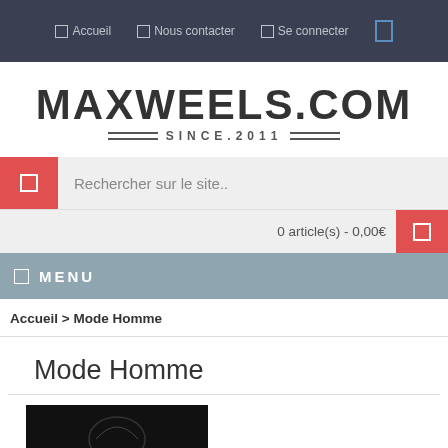☐ Accueil  ☐ Nous contacter  ☐ Se connecter  ☐
MAXWEELS.COM — SINCE.2011 —
Rechercher sur le site..
0 article(s) - 0,00€
☐ MENU
Accueil > Mode Homme
Mode Homme
[Figure (photo): Dark product photo, appears to show a clothing item or accessory on dark background]